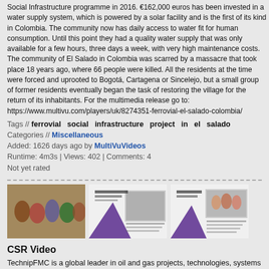Social Infrastructure programme in 2016. €162,000 euros has been invested in a water supply system, which is powered by a solar facility and is the first of its kind in Colombia. The community now has daily access to water fit for human consumption. Until this point they had a quality water supply that was only available for a few hours, three days a week, with very high maintenance costs. The community of El Salado in Colombia was scarred by a massacre that took place 18 years ago, where 66 people were killed. All the residents at the time were forced and uprooted to Bogotá, Cartagena or Sincelejo, but a small group of former residents eventually began the task of restoring the village for the return of its inhabitants. For the multimedia release go to: https://www.multivu.com/players/uk/8274351-ferrovial-el-salado-colombia/
Tags // ferrovial social infrastructure project in el salado
Categories // Miscellaneous
Added: 1626 days ago by MultiVuVideos
Runtime: 4m3s | Views: 402 | Comments: 4
Not yet rated
[Figure (photo): Three thumbnail images: first shows a group of people (children/women) in colorful dress; second shows a Karur Lions Club Charitable Trust document with a purple graphic; third shows a Suvaida Trust document with a photo of people.]
CSR Video
TechnipFMC is a global leader in oil and gas projects, technologies, systems and services, with one overriding vision: to enhance the performance of the world's energy industry. This vision is supported by utmost dedication and expertise of 40,000 plus talented employees across 45 countries. With proprietary technologies and production systems, integrated expertise we deliver comprehensive solutions, we are transforming our clients' project economics across onshore/offshore and surface. To know more about us, click here In India, TechnipFMC leads expertise in the field of Onshore – Refining, Petrochemicals, LNG, Fertilizers,